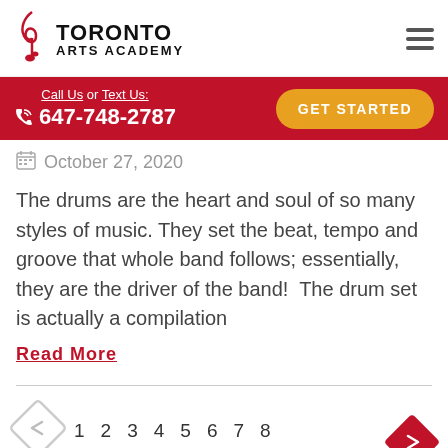Toronto Arts Academy
Call Us or Text Us: 647-748-2787 GET STARTED
October 27, 2020
The drums are the heart and soul of so many styles of music. They set the beat, tempo and groove that whole band follows; essentially, they are the driver of the band! The drum set is actually a compilation
Read More
1 2 3 4 5 6 7 8